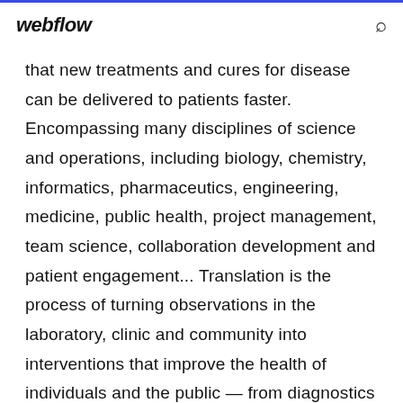webflow
that new treatments and cures for disease can be delivered to patients faster. Encompassing many disciplines of science and operations, including biology, chemistry, informatics, pharmaceutics, engineering, medicine, public health, project management, team science, collaboration development and patient engagement... Translation is the process of turning observations in the laboratory, clinic and community into interventions that improve the health of individuals and the public — from diagnostics and therapeutics to medical procedures and behavioral... The program was fully implemented in 2012, comprising 60 grantee institutions and their partners. Post-